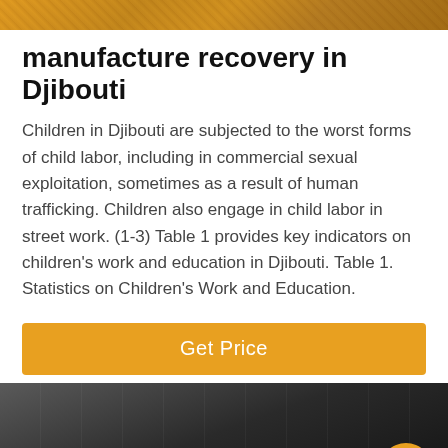[Figure (photo): Top banner image with yellow/orange tones, partially visible]
manufacture recovery in Djibouti
Children in Djibouti are subjected to the worst forms of child labor, including in commercial sexual exploitation, sometimes as a result of human trafficking. Children also engage in child labor in street work. (1-3) Table 1 provides key indicators on children's work and education in Djibouti. Table 1. Statistics on Children's Work and Education.
[Figure (other): Orange/gold Get Price button]
[Figure (photo): Bottom image showing mechanical/industrial equipment in dark tones, with chat bar overlay including Leave Message and Chat Online options and agent avatar]